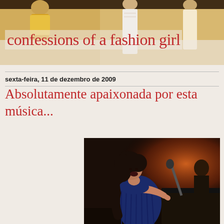[Figure (photo): Fashion show header photo with models on runway, warm golden tones]
confessions of a fashion girl
sexta-feira, 11 de dezembro de 2009
Absolutamente apaixonada por esta música...
[Figure (photo): Female singer in blue dress performing passionately at piano/microphone with orange backlight]